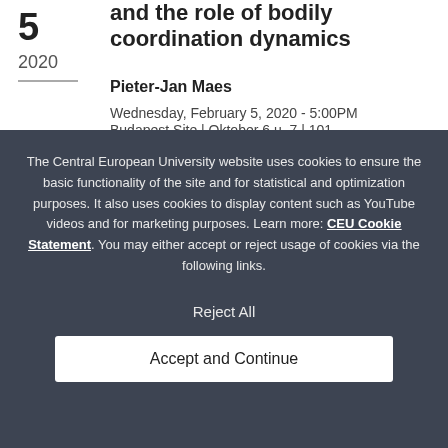and the role of bodily coordination dynamics
5
2020
Pieter-Jan Maes
Wednesday, February 5, 2020 - 5:00PM
Budapest Site | Oktober 6 u. 7 | 101
The Central European University website uses cookies to ensure the basic functionality of the site and for statistical and optimization purposes. It also uses cookies to display content such as YouTube videos and for marketing purposes. Learn more: CEU Cookie Statement. You may either accept or reject usage of cookies via the following links.
Reject All
Accept and Continue